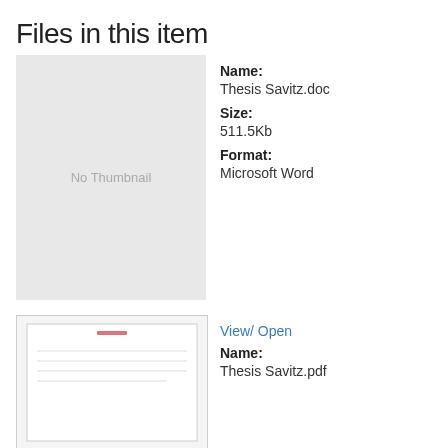Files in this item
[Figure (other): Gray placeholder box with 'No Thumbnail' text]
Name: Thesis Savitz.doc Size: 511.5Kb Format: Microsoft Word
[Figure (other): Small document thumbnail preview of Thesis Savitz.pdf]
View/ Open Name: Thesis Savitz.pdf